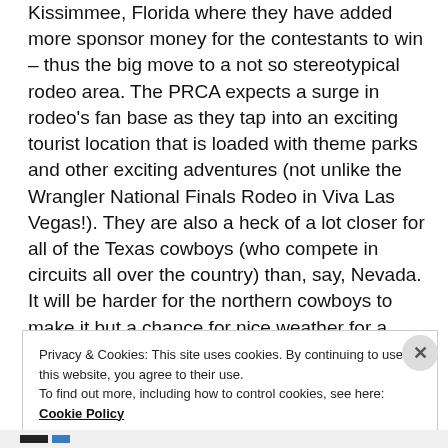Kissimmee, Florida where they have added more sponsor money for the contestants to win – thus the big move to a not so stereotypical rodeo area. The PRCA expects a surge in rodeo's fan base as they tap into an exciting tourist location that is loaded with theme parks and other exciting adventures (not unlike the Wrangler National Finals Rodeo in Viva Las Vegas!). They are also a heck of a lot closer for all of the Texas cowboys (who compete in circuits all over the country) than, say, Nevada. It will be harder for the northern cowboys to make it but a chance for nice weather for a winter-ish rodeo is more than exciting for these cowboys!
Privacy & Cookies: This site uses cookies. By continuing to use this website, you agree to their use. To find out more, including how to control cookies, see here: Cookie Policy
Close and accept